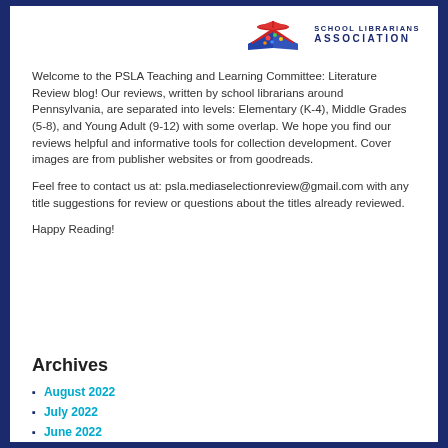[Figure (logo): Pennsylvania School Librarians Association logo with colorful book and dots graphic, alongside 'SCHOOL LIBRARIANS ASSOCIATION' text in dark blue]
Welcome to the PSLA Teaching and Learning Committee: Literature Review blog! Our reviews, written by school librarians around Pennsylvania, are separated into levels: Elementary (K-4), Middle Grades (5-8), and Young Adult (9-12) with some overlap. We hope you find our reviews helpful and informative tools for collection development. Cover images are from publisher websites or from goodreads.
Feel free to contact us at: psla.mediaselectionreview@gmail.com with any title suggestions for review or questions about the titles already reviewed.
Happy Reading!
Archives
August 2022
July 2022
June 2022